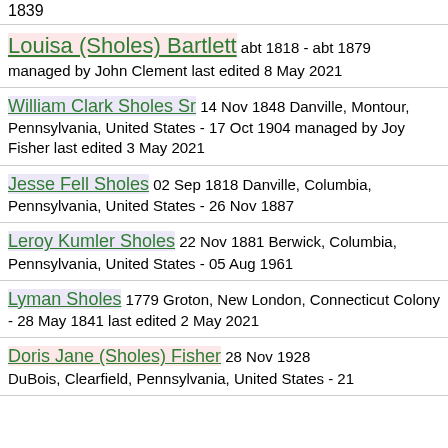1839
Louisa (Sholes) Bartlett abt 1818 - abt 1879 managed by John Clement last edited 8 May 2021
William Clark Sholes Sr 14 Nov 1848 Danville, Montour, Pennsylvania, United States - 17 Oct 1904 managed by Joy Fisher last edited 3 May 2021
Jesse Fell Sholes 02 Sep 1818 Danville, Columbia, Pennsylvania, United States - 26 Nov 1887
Leroy Kumler Sholes 22 Nov 1881 Berwick, Columbia, Pennsylvania, United States - 05 Aug 1961
Lyman Sholes 1779 Groton, New London, Connecticut Colony - 28 May 1841 last edited 2 May 2021
Doris Jane (Sholes) Fisher 28 Nov 1928 DuBois, Clearfield, Pennsylvania, United States - 21